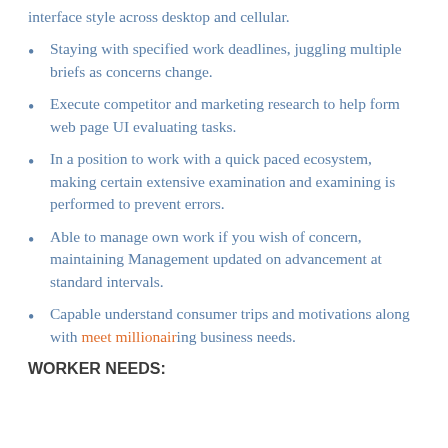interface style across desktop and cellular.
Staying with specified work deadlines, juggling multiple briefs as concerns change.
Execute competitor and marketing research to help form web page UI evaluating tasks.
In a position to work with a quick paced ecosystem, making certain extensive examination and examining is performed to prevent errors.
Able to manage own work if you wish of concern, maintaining Management updated on advancement at standard intervals.
Capable understand consumer trips and motivations along with meet millionairing business needs.
WORKER NEEDS: